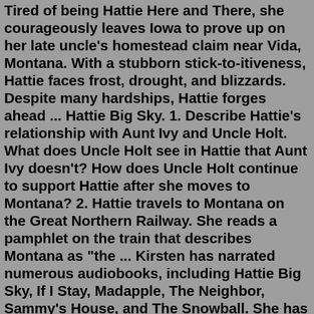Tired of being Hattie Here and There, she courageously leaves Iowa to prove up on her late uncle's homestead claim near Vida, Montana. With a stubborn stick-to-itiveness, Hattie faces frost, drought, and blizzards. Despite many hardships, Hattie forges ahead ... Hattie Big Sky. 1. Describe Hattie's relationship with Aunt Ivy and Uncle Holt. What does Uncle Holt see in Hattie that Aunt Ivy doesn't? How does Uncle Holt continue to support Hattie after she moves to Montana? 2. Hattie travels to Montana on the Great Northern Railway. She reads a pamphlet on the train that describes Montana as "the ... Kirsten has narrated numerous audiobooks, including Hattie Big Sky, If I Stay, Madapple, The Neighbor, Sammy's House, and The Snowball. She has received three AudioFile Earphones Awards for her outstanding narration. Under the big sky, Hattie braves hard weather, hard times, a cantankerous cow, and her own hopeless hand at the cookstove. Her quest to make a home is championed by new neighbors Perilee Mueller, her German husband, and